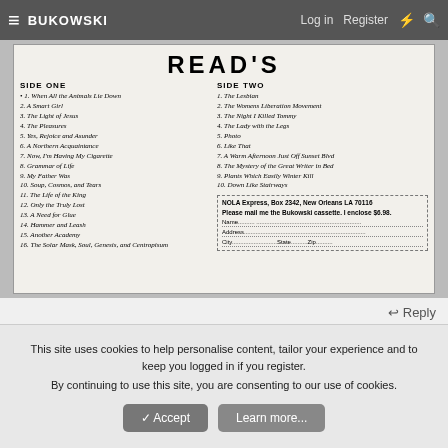≡ BUKOWSKI  Log in  Register  ⚡  🔍
READ'S
SIDE ONE
1. When All the Animals Lie Down
2. A Smart Girl
3. The Light of Jesus
4. The Pleasures
5. Yes, Rejoice and Asunder
6. A Northern Acquaintance
7. Now, I'm Having My Cigarette
8. Grammar of Life
9. My Father Was
10. Soup, Cosmos, and Tears
11. The Life of the King
12. Only the Truly Lost
13. A Need for Glue
14. Hammer and Leash
15. Another Academy
16. The Solar Mask, Soul, Genesis, and Centropisum
SIDE TWO
1. The Lesbian
2. The Womens Liberation Movement
3. The Night I Killed Tommy
4. The Lady with the Legs
5. Photo
6. Like That
7. A Warm Afternoon Just Off Sunset Blvd
8. The Mystery of the Great Writer in Bed
9. Plants Which Easily Winter Kill
10. Down Like Stairways
NOLA Express, Box 2342, New Orleans LA 70116
Please mail me the Bukowski cassette. I enclose $6.98.
Name...........
Address...........
City..............State..........Zip..........
↩ Reply
This site uses cookies to help personalise content, tailor your experience and to keep you logged in if you register.
By continuing to use this site, you are consenting to our use of cookies.
✓ Accept   Learn more...